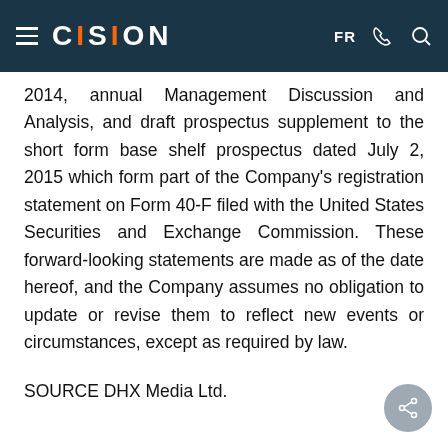CISION  FR
2014, annual Management Discussion and Analysis, and draft prospectus supplement to the short form base shelf prospectus dated July 2, 2015 which form part of the Company's registration statement on Form 40-F filed with the United States Securities and Exchange Commission. These forward-looking statements are made as of the date hereof, and the Company assumes no obligation to update or revise them to reflect new events or circumstances, except as required by law.
SOURCE DHX Media Ltd.